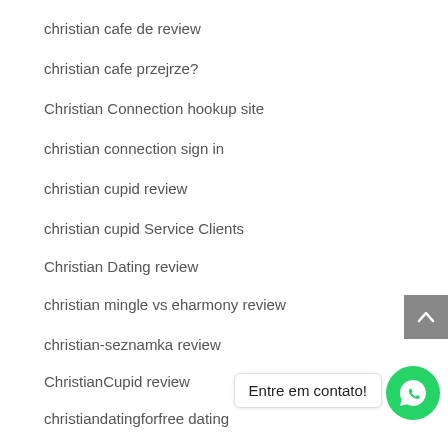christian cafe de review
christian cafe przejrze?
Christian Connection hookup site
christian connection sign in
christian cupid review
christian cupid Service Clients
Christian Dating review
christian mingle vs eharmony review
christian-seznamka review
ChristianCupid review
christiandatingforfree dating
Christiandatingforfree frauen app
Christiandatingforfree visitors